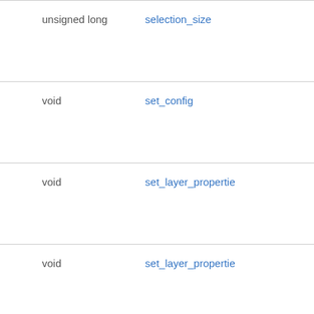|  |  |
| --- | --- |
| unsigned long | selection_size |
| void | set_config |
| void | set_layer_propertie… |
| void | set_layer_propertie… |